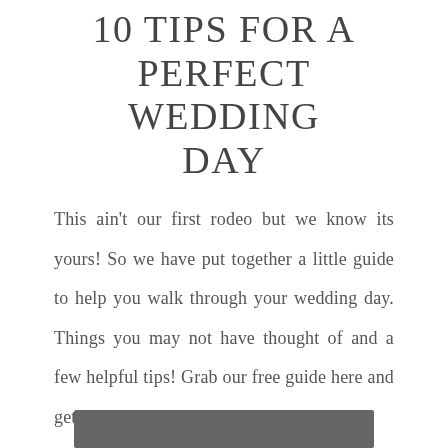10 TIPS FOR A PERFECT WEDDING DAY
This ain't our first rodeo but we know its yours! So we have put together a little guide to help you walk through your wedding day. Things you may not have thought of and a few helpful tips! Grab our free guide here and get
[Figure (other): Dark grey rectangular button/banner at the bottom of the page]